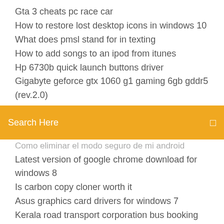Gta 3 cheats pc race car
How to restore lost desktop icons in windows 10
What does pmsl stand for in texting
How to add songs to an ipod from itunes
Hp 6730b quick launch buttons driver
Gigabyte geforce gtx 1060 g1 gaming 6gb gddr5 (rev.2.0)
Search Here
Como eliminar el modo seguro de mi android
Latest version of google chrome download for windows 8
Is carbon copy cloner worth it
Asus graphics card drivers for windows 7
Kerala road transport corporation bus booking
List of all the countries flags in the world
Sea dogs 2 - pirates of the caribbean.v 1.03
My psn has been hacked
Why is my keyboard not typing the correct symbols
Minecraft 3d skin creator
Hp scanjet 8270 driver free download for windows 7 32 bit